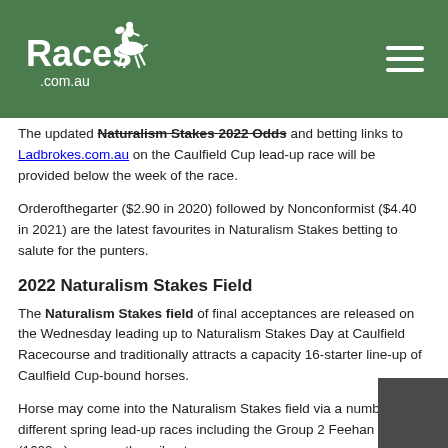Races.com.au
The updated Naturalism Stakes 2022 Odds and betting links to Ladbrokes.com.au on the Caulfield Cup lead-up race will be provided below the week of the race.
Orderofthegarter ($2.90 in 2020) followed by Nonconformist ($4.40 in 2021) are the latest favourites in Naturalism Stakes betting to salute for the punters.
2022 Naturalism Stakes Field
The Naturalism Stakes field of final acceptances are released on the Wednesday leading up to Naturalism Stakes Day at Caulfield Racecourse and traditionally attracts a capacity 16-starter line-up of Caulfield Cup-bound horses.
Horse may come into the Naturalism Stakes field via a number of different spring lead-up races including the Group 2 Feehan Stakes (1600m) run over the mile at